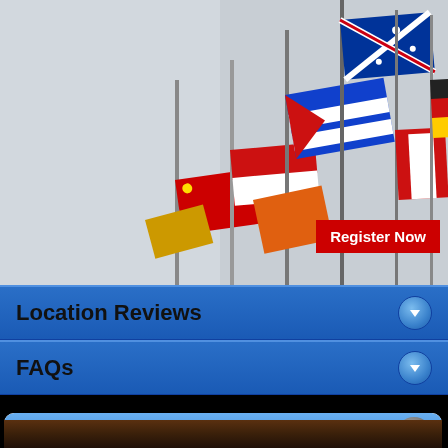[Figure (photo): International flags on poles against a light grey sky background. Visible flags include Australia, China, Cuba, Canada, Germany, and others. A red 'Register Now' button overlays the bottom-right.]
Location Reviews
FAQs
Alcohol and Tobacco Cost of Living
Alcohol and Tobacco Cost of Living
The July 2022 most expensive international expat places for alcohol & tobacco items such as beer, spirits, wine and cigarettes.
[Figure (photo): Dark brown/amber background image at the bottom of the page, partially visible.]